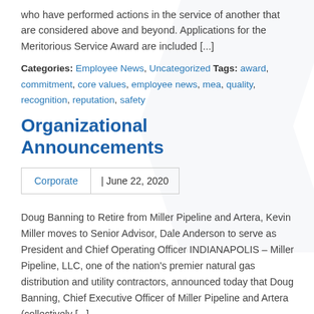who have performed actions in the service of another that are considered above and beyond. Applications for the Meritorious Service Award are included [...]
Categories: Employee News, Uncategorized Tags: award, commitment, core values, employee news, mea, quality, recognition, reputation, safety
Organizational Announcements
Corporate | June 22, 2020
Doug Banning to Retire from Miller Pipeline and Artera, Kevin Miller moves to Senior Advisor, Dale Anderson to serve as President and Chief Operating Officer INDIANAPOLIS – Miller Pipeline, LLC, one of the nation's premier natural gas distribution and utility contractors, announced today that Doug Banning, Chief Executive Officer of Miller Pipeline and Artera (collectively [...]